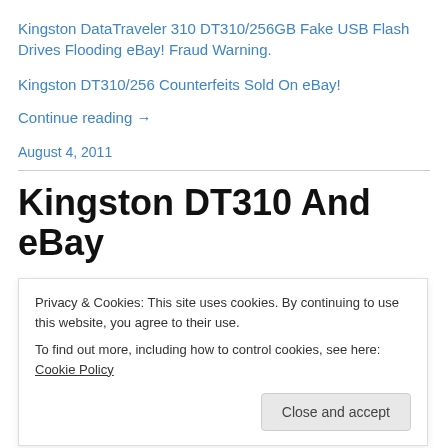Kingston DataTraveler 310 DT310/256GB Fake USB Flash Drives Flooding eBay! Fraud Warning.
Kingston DT310/256 Counterfeits Sold On eBay!
Continue reading →
August 4, 2011
Kingston DT310 And eBay
Privacy & Cookies: This site uses cookies. By continuing to use this website, you agree to their use.
To find out more, including how to control cookies, see here: Cookie Policy
Close and accept
graycc333 – auctionbarndsa1